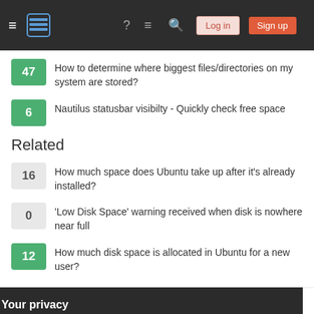Stack Exchange navigation header with Log in and Sign up buttons
47 — How to determine where biggest files/directories on my system are stored?
6 — Nautilus statusbar visibilty - Quickly check free space
Related
16 — How much space does Ubuntu take up after it's already installed?
0 — 'Low Disk Space' warning received when disk is nowhere near full
12 — How much disk space is allocated in Ubuntu for a new user?
Your privacy
By clicking "Accept all cookies", you agree Stack Exchange can store cookies on your device and disclose information in accordance with our Cookie Policy.
0 — What is the available space on my disk, exactly